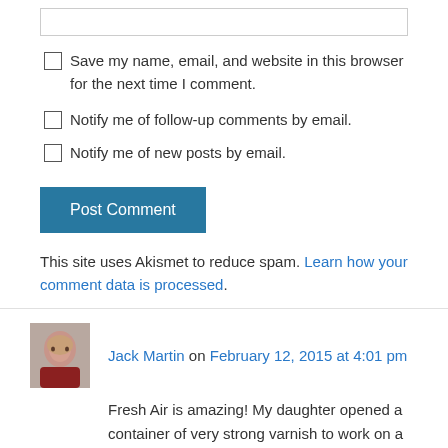Save my name, email, and website in this browser for the next time I comment.
Notify me of follow-up comments by email.
Notify me of new posts by email.
Post Comment
This site uses Akismet to reduce spam. Learn how your comment data is processed.
Jack Martin on February 12, 2015 at 4:01 pm
Fresh Air is amazing! My daughter opened a container of very strong varnish to work on a project. I caused an horrible odor throughout our entire first floor.
In an effort to get rid of the odor, we left the house for two hours with our Fresh Air Surround on Away Mode. When we